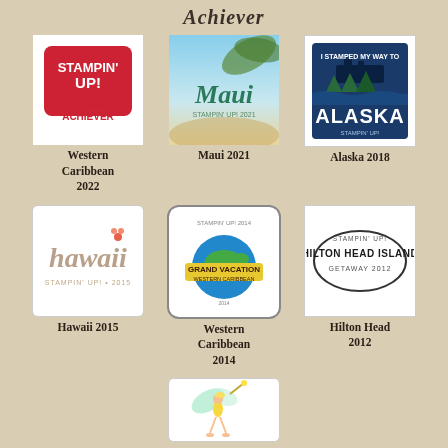Achiever
[Figure (logo): Stampin Up 2022 Incentive Trip Achiever badge]
Western Caribbean 2022
[Figure (logo): Maui Stampin Up 2021 badge]
Maui 2021
[Figure (logo): I Stamped My Way to Alaska Stampin Up badge]
Alaska 2018
[Figure (logo): Hawaii Stampin Up 2015 badge]
Hawaii 2015
[Figure (logo): Stampin Up Grand Vacation Western Caribbean 2014 badge]
Western Caribbean 2014
[Figure (logo): Stampin Up Hilton Head Island Getaway 2012 badge]
Hilton Head 2012
[Figure (illustration): Partial fairy/tinker bell illustration at bottom]